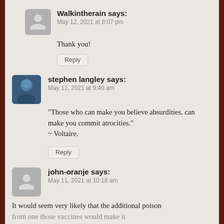Walkintherain says: May 12, 2021 at 8:07 pm
Thank you!
Reply
stephen langley says: May 11, 2021 at 9:40 am
“Those who can make you believe absurdities, can make you commit atrocities.” ~ Voltaire.
Reply
john-oranje says: May 11, 2021 at 10:18 am
It would seem very likely that the additional poison from one those vaccines would make it